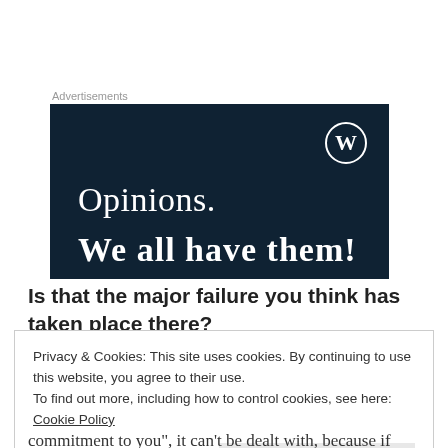[Figure (other): Advertisement banner with dark navy background. Shows WordPress logo (W in circle) at top right. Text reads 'Opinions.' and 'We all have them!' in white serif font.]
Is that the major failure you think has taken place there?
Privacy & Cookies: This site uses cookies. By continuing to use this website, you agree to their use.
To find out more, including how to control cookies, see here: Cookie Policy
Close and accept
commitment to you", it can't be dealt with, because if